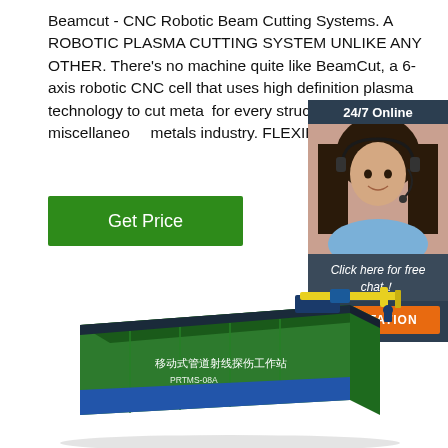Beamcut - CNC Robotic Beam Cutting Systems. A ROBOTIC PLASMA CUTTING SYSTEM UNLIKE ANY OTHER. There's no machine quite like BeamCut, a 6-axis robotic CNC cell that uses high definition plasma technology to cut metal for every structural steel and miscellaneous metals industry. FLEXIBILITY.
[Figure (illustration): Get Price green button]
[Figure (illustration): 24/7 Online chat widget with woman wearing headset, 'Click here for free chat!' text, and orange QUOTATION button]
[Figure (illustration): 3D rendering of a green shipping container labeled '移动式管道射线探伤工作站 PRTMS-08A' with yellow/blue mechanical arm/equipment on top]